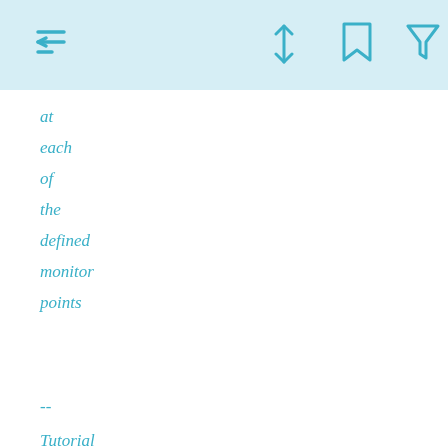← ↕ bookmark filter
at each of the defined monitor points
--
Tutorial 16 - Figure 09 - Excel output with conditional formatting for soot volume fraction levels in ppm